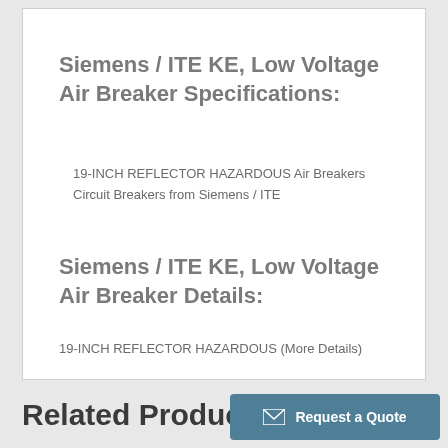Siemens / ITE KE, Low Voltage Air Breaker Specifications:
19-INCH REFLECTOR HAZARDOUS Air Breakers Circuit Breakers from Siemens / ITE
Siemens / ITE KE, Low Voltage Air Breaker Details:
19-INCH REFLECTOR HAZARDOUS (More Details)
Related Produc…